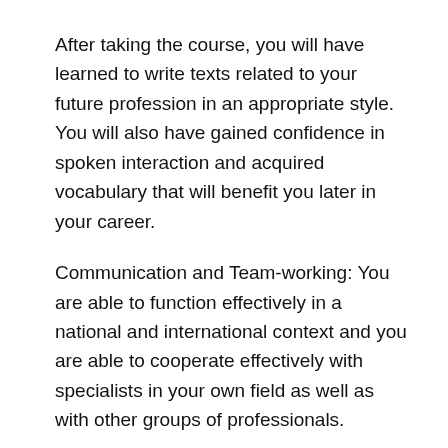After taking the course, you will have learned to write texts related to your future profession in an appropriate style. You will also have gained confidence in spoken interaction and acquired vocabulary that will benefit you later in your career.
Communication and Team-working: You are able to function effectively in a national and international context and you are able to cooperate effectively with specialists in your own field as well as with other groups of professionals.